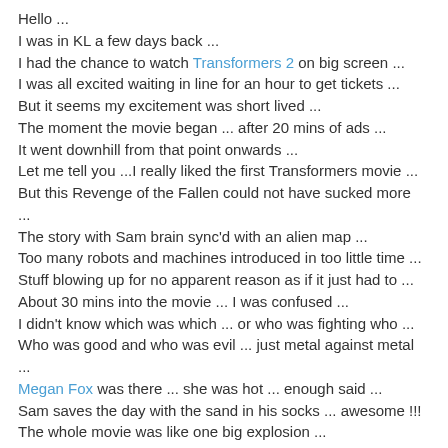Hello ...
I was in KL a few days back ...
I had the chance to watch Transformers 2 on big screen ...
I was all excited waiting in line for an hour to get tickets ...
But it seems my excitement was short lived ...
The moment the movie began ... after 20 mins of ads ...
It went downhill from that point onwards ...
Let me tell you ...I really liked the first Transformers movie ...
But this Revenge of the Fallen could not have sucked more ...
The story with Sam brain sync'd with an alien map ...
Too many robots and machines introduced in too little time ...
Stuff blowing up for no apparent reason as if it just had to ...
About 30 mins into the movie ... I was confused ...
I didn't know which was which ... or who was fighting who ...
Who was good and who was evil ... just metal against metal ...
Megan Fox was there ... she was hot ... enough said ...
Sam saves the day with the sand in his socks ... awesome !!!
The whole movie was like one big explosion ...
They say they could stay hidden in plain sight